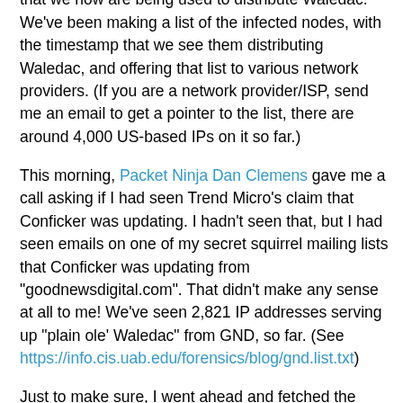often (like 4 times a minute) all of the domain names that we now are being used to distribute Waledac. We've been making a list of the infected nodes, with the timestamp that we see them distributing Waledac, and offering that list to various network providers. (If you are a network provider/ISP, send me an email to get a pointer to the list, there are around 4,000 US-based IPs on it so far.)
This morning, Packet Ninja Dan Clemens gave me a call asking if I had seen Trend Micro's claim that Conficker was updating. I hadn't seen that, but I had seen emails on one of my secret squirrel mailing lists that Conficker was updating from "goodnewsdigital.com". That didn't make any sense at all to me! We've seen 2,821 IP addresses serving up "plain ole' Waledac" from GND, so far. (See https://info.cis.uab.edu/forensics/blog/gnd.list.txt)
Just to make sure, I went ahead and fetched the current Waledac binary from one of the GoodNewsDigital.com websites, and sure enough, it was Plain Ole Waledac.
MD5: 20ac8daf84c022ef10bc042128ccace6